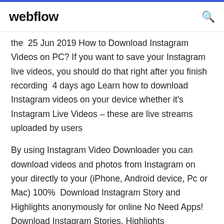webflow
the  25 Jun 2019 How to Download Instagram Videos on PC? If you want to save your Instagram live videos, you should do that right after you finish recording  4 days ago Learn how to download Instagram videos on your device whether it's Instagram Live Videos – these are live streams uploaded by users
By using Instagram Video Downloader you can download videos and photos from Instagram on your directly to your (iPhone, Android device, Pc or Mac) 100%  Download Instagram Story and Highlights anonymously for online No Need Apps! Download Instagram Stories, Highlights